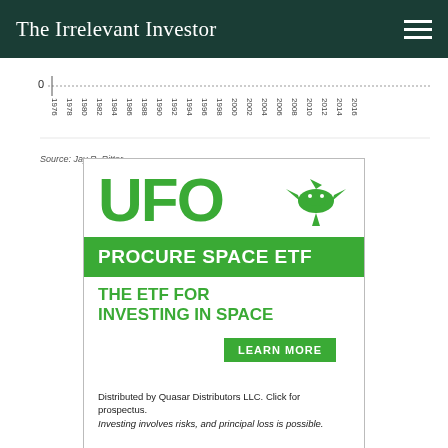The Irrelevant Investor
[Figure (continuous-plot): Partial x-axis of a time-series chart showing years from 1976 to 2016, with a horizontal dotted line and a '0' label on the y-axis. Source: Jay R. Ritter.]
Source: Jay R. Ritter.
[Figure (infographic): Advertisement for UFO Procure Space ETF. Shows large green 'UFO' text, a green dragon logo, a green banner reading 'PROCURE SPACE ETF', tagline 'THE ETF FOR INVESTING IN SPACE', a 'LEARN MORE' button, and disclaimer text: 'Distributed by Quasar Distributors LLC. Click for prospectus. Investing involves risks, and principal loss is possible.']
While we are seeing much larger IPOs than in the past, the
[Figure (infographic): Bottom banner advertisement for UFO Procure Space ETF with green UFO text, PROCURE SPACE ETF label, THE ETF FOR INVESTING IN SPACE tagline, dragon logo, LEARN MORE button, and 'Distributed by Quasar Distributors LLC.' text. Has a close (x) button.]